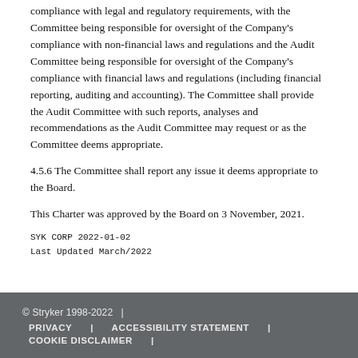compliance with legal and regulatory requirements, with the Committee being responsible for oversight of the Company's compliance with non-financial laws and regulations and the Audit Committee being responsible for oversight of the Company's compliance with financial laws and regulations (including financial reporting, auditing and accounting). The Committee shall provide the Audit Committee with such reports, analyses and recommendations as the Audit Committee may request or as the Committee deems appropriate.
4.5.6 The Committee shall report any issue it deems appropriate to the Board.
This Charter was approved by the Board on 3 November, 2021.
SYK CORP 2022-01-02
Last Updated March/2022
© Stryker 1998-2022 | PRIVACY | ACCESSIBILITY STATEMENT | COOKIE DISCLAIMER |